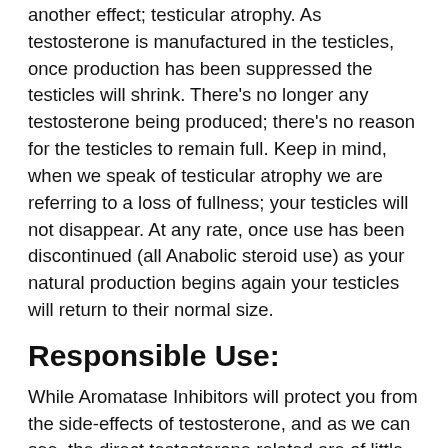another effect; testicular atrophy. As testosterone is manufactured in the testicles, once production has been suppressed the testicles will shrink. There's no longer any testosterone being produced; there's no reason for the testicles to remain full. Keep in mind, when we speak of testicular atrophy we are referring to a loss of fullness; your testicles will not disappear. At any rate, once use has been discontinued (all Anabolic steroid use) as your natural production begins again your testicles will return to their normal size.
Responsible Use:
While Aromatase Inhibitors will protect you from the side-effects of testosterone, and as we can see, the direct testosterone related are of little concern, the ultimate protection will be responsible use. In short, responsible use is defined by any use that does not cause you harm; if you are steroiding without harm you are steroiding responsibly. The minute you leave this